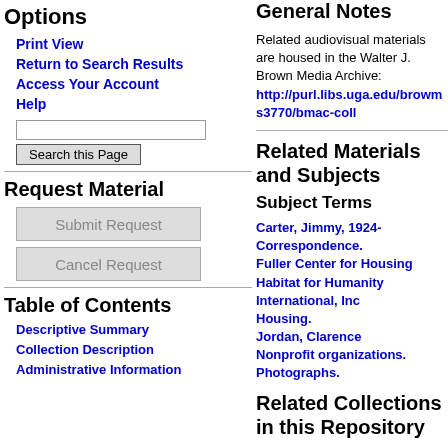Options
Print View
Return to Search Results
Access Your Account
Help
Request Material
Table of Contents
Descriptive Summary
Collection Description
Administrative Information
General Notes
Related audiovisual materials are housed in the Walter J. Brown Media Archive: http://purl.libs.uga.edu/browms3770/bmac-coll
Related Materials and Subjects
Subject Terms
Carter, Jimmy, 1924- Correspondence.
Fuller Center for Housing
Habitat for Humanity International, Inc
Housing.
Jordan, Clarence
Nonprofit organizations.
Photographs.
Related Collections in this Repository